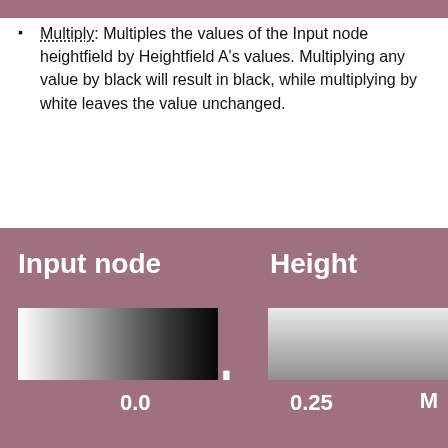Multiply: Multiples the values of the Input node heightfield by Heightfield A's values. Multiplying any value by black will result in black, while multiplying by white leaves the value unchanged.
[Figure (illustration): Illustration showing merge mode Multiply with Input node (vertical grayscale gradient) + Heightfield A (horizontal grayscale gradient) and label 'Merge mode: Multiply']
[Figure (illustration): Bottom panel showing merge mode results at values 0.0 and 0.25 with label starting with M]